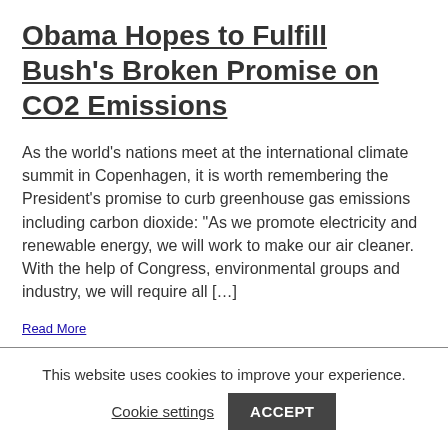Obama Hopes to Fulfill Bush's Broken Promise on CO2 Emissions
As the world's nations meet at the international climate summit in Copenhagen, it is worth remembering the President's promise to curb greenhouse gas emissions including carbon dioxide: "As we promote electricity and renewable energy, we will work to make our air cleaner. With the help of Congress, environmental groups and industry, we will require all […]
Read More
This website uses cookies to improve your experience.
Cookie settings
ACCEPT